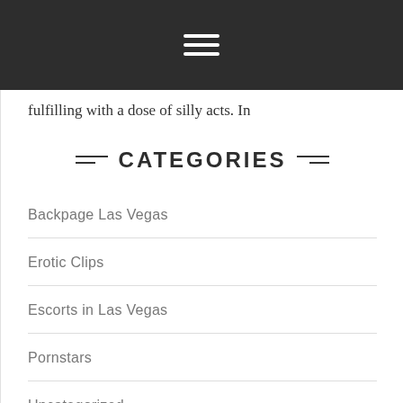Navigation menu (hamburger icon)
fulfilling with a dose of silly acts. In
CATEGORIES
Backpage Las Vegas
Erotic Clips
Escorts in Las Vegas
Pornstars
Uncategorized